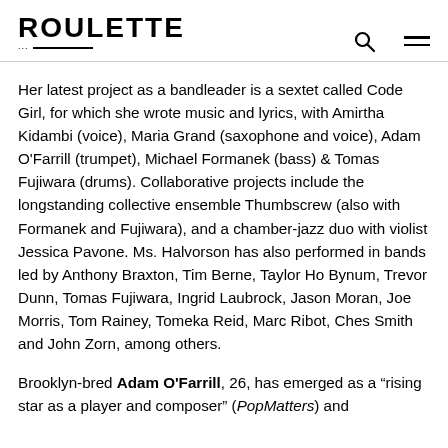ROULETTE
Her latest project as a bandleader is a sextet called Code Girl, for which she wrote music and lyrics, with Amirtha Kidambi (voice), Maria Grand (saxophone and voice), Adam O’Farrill (trumpet), Michael Formanek (bass) & Tomas Fujiwara (drums). Collaborative projects include the longstanding collective ensemble Thumbscrew (also with Formanek and Fujiwara), and a chamber-jazz duo with violist Jessica Pavone. Ms. Halvorson has also performed in bands led by Anthony Braxton, Tim Berne, Taylor Ho Bynum, Trevor Dunn, Tomas Fujiwara, Ingrid Laubrock, Jason Moran, Joe Morris, Tom Rainey, Tomeka Reid, Marc Ribot, Ches Smith and John Zorn, among others.
Brooklyn-bred Adam O’Farrill, 26, has emerged as a “rising star as a player and composer” (PopMatters) and